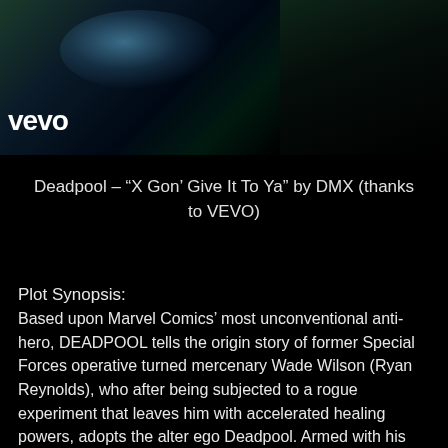[Figure (screenshot): Dark screenshot of a video player with the VEVO logo visible in the lower left. The image shows a dark, moody scene with blue-green lighting highlights.]
Deadpool – “X Gon’ Give It To Ya” by DMX (thanks to VEVO)
Plot Synopsis:
Based upon Marvel Comics’ most unconventional anti-hero, DEADPOOL tells the origin story of former Special Forces operative turned mercenary Wade Wilson (Ryan Reynolds), who after being subjected to a rogue experiment that leaves him with accelerated healing powers, adopts the alter ego Deadpool. Armed with his new abilities and a dark, twisted sense of humor, Deadpool hunts down the man who nearly destroyed his life.